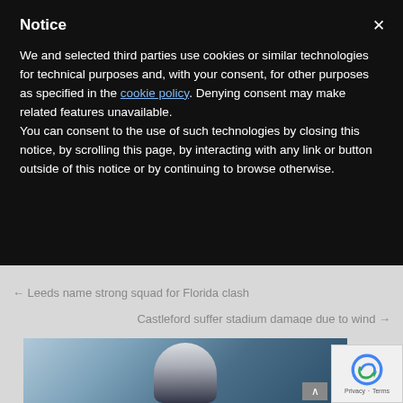Notice
We and selected third parties use cookies or similar technologies for technical purposes and, with your consent, for other purposes as specified in the cookie policy. Denying consent may make related features unavailable.
You can consent to the use of such technologies by closing this notice, by scrolling this page, by interacting with any link or button outside of this notice or by continuing to browse otherwise.
← Leeds name strong squad for Florida clash
Castleford suffer stadium damage due to wind →
[Figure (screenshot): Search input bar on grey background]
[Figure (photo): Rugby player photo, blurred background with blue tones, player in dark jersey visible from waist up]